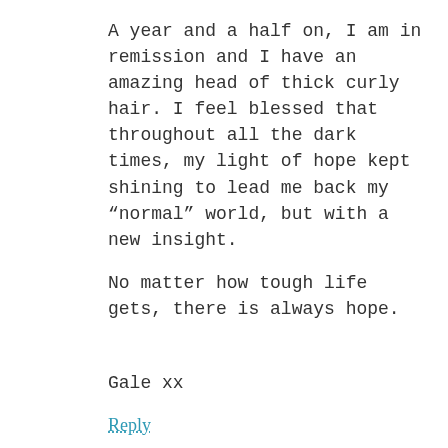A year and a half on, I am in remission and I have an amazing head of thick curly hair. I feel blessed that throughout all the dark times, my light of hope kept shining to lead me back my “normal” world, but with a new insight.
No matter how tough life gets, there is always hope.
Gale xx
Reply
SL says